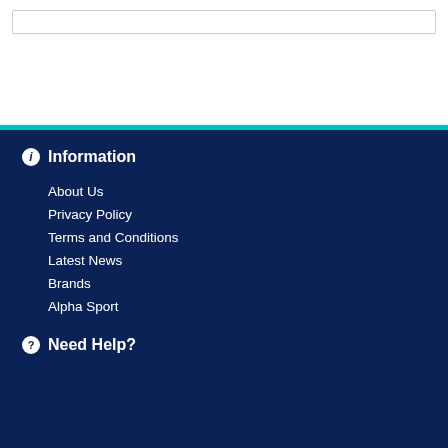Information
About Us
Privacy Policy
Terms and Conditions
Latest News
Brands
Alpha Sport
Need Help?